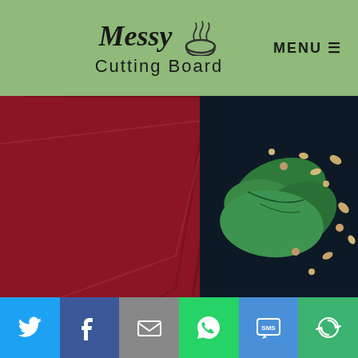Messy Cutting Board  MENU
[Figure (photo): Dark moody food photography showing a bowl of orange soup with basil leaves, cashew nuts, jalapeño slices, and a red/maroon cloth napkin on a dark wooden surface]
Privacy & Cookies: This site uses cookies. By continuing to use this website, you agree to their use.
To find out more, including how to control cookies, see here: Cookie Policy
[Figure (other): Social sharing bar with icons for Twitter (blue bird), Facebook (blue f), Email (grey envelope), WhatsApp (green phone), SMS (blue SMS), and More (green circular arrows)]